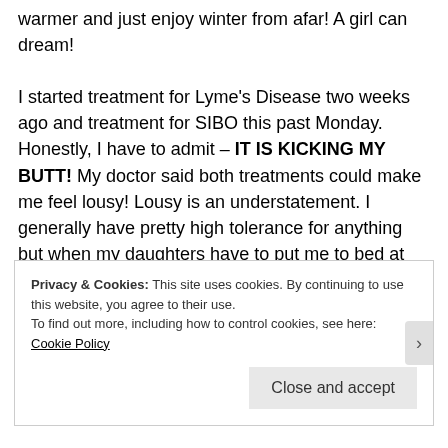warmer and just enjoy winter from afar!  A girl can dream!

I started treatment for Lyme's Disease two weeks ago and treatment for SIBO this past Monday.  Honestly, I have to admit – IT IS KICKING MY BUTT!  My doctor said both treatments could make me feel lousy!  Lousy is an understatement.  I generally have pretty high tolerance for anything but when my daughters have to put me to bed at nights, that's when I know its been a rough road!  Battling with severe fatigue and abdominal pain, flu-like symptoms, RLS, blurred vision, night sweats, etc, etc, etc.  Remember this is only the physical side effects, my emotional and mental state is for another blog post!
Privacy & Cookies: This site uses cookies. By continuing to use this website, you agree to their use.
To find out more, including how to control cookies, see here: Cookie Policy
Close and accept